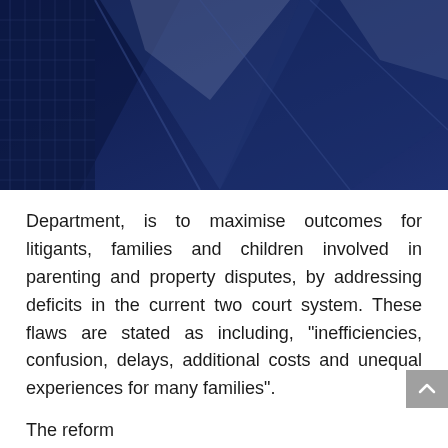[Figure (photo): Dark navy blue background photo showing abstract geometric shapes resembling courthouse or legal architectural elements, with triangular and angular forms visible against the dark blue tone.]
Department, is to maximise outcomes for litigants, families and children involved in parenting and property disputes, by addressing deficits in the current two court system. These flaws are stated as including, "inefficiencies, confusion, delays, additional costs and unequal experiences for many families".
The reform...